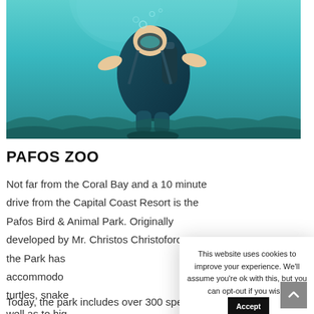[Figure (photo): Underwater photo of a scuba diver in blue water with coral in background]
PAFOS ZOO
Not far from the Coral Bay and a 10 minute drive from the Capital Coast Resort is the Pafos Bird & Animal Park. Originally developed by Mr. Christos Christoforou the Park has accommoda turtles, snake well as to hig and conservi Today, the park includes over 300 species and
This website uses cookies to improve your experience. We'll assume you're ok with this, but you can opt-out if you wish.
Accept
Read More